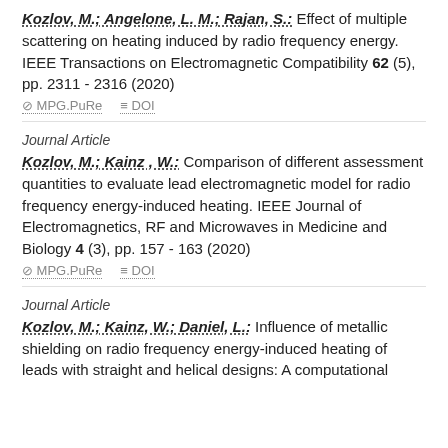Kozlov, M.; Angelone, L. M.; Rajan, S.: Effect of multiple scattering on heating induced by radio frequency energy. IEEE Transactions on Electromagnetic Compatibility 62 (5), pp. 2311 - 2316 (2020)
MPG.PuRe   DOI
Journal Article
Kozlov, M.; Kainz, W.: Comparison of different assessment quantities to evaluate lead electromagnetic model for radio frequency energy-induced heating. IEEE Journal of Electromagnetics, RF and Microwaves in Medicine and Biology 4 (3), pp. 157 - 163 (2020)
MPG.PuRe   DOI
Journal Article
Kozlov, M.; Kainz, W.; Daniel, L.: Influence of metallic shielding on radio frequency energy-induced heating of leads with straight and helical designs: A computational study